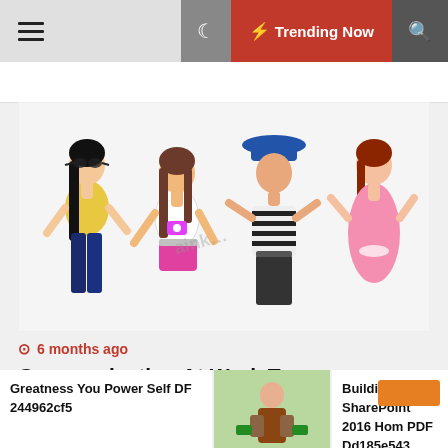Trending Now
[Figure (illustration): Illustrated fashion figures of women in colorful outfits: yellow top, white top, pink tube top, black-and-white striped top with blue hat, and pink dress]
6 months ago
Communicating At Work Tony Alessandra PDF 5827849f6
Greatness You Power Self DF 244962cf5
Building SharePoint 2016 Hom PDF Dd185e543